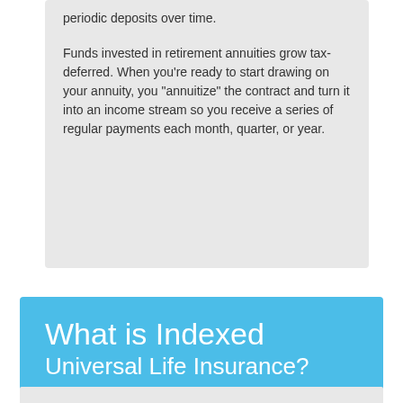periodic deposits over time.
Funds invested in retirement annuities grow tax-deferred. When you're ready to start drawing on your annuity, you "annuitize" the contract and turn it into an income stream so you receive a series of regular payments each month, quarter, or year.
What is Indexed Universal Life Insurance?